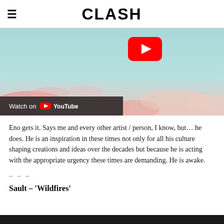CLASH
[Figure (screenshot): YouTube video thumbnail showing a pastel sky with pink clouds and a YouTube play button overlay. A 'Watch on YouTube' bar appears at the bottom left.]
Eno gets it. Says me and every other artist / person, I know, but… he does. He is an inspiration in these times not only for all his culture shaping creations and ideas over the decades but because he is acting with the appropriate urgency these times are demanding. He is awake.
– – –
Sault – 'Wildfires'